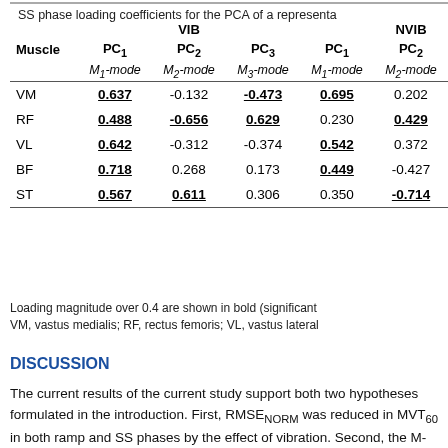SS phase loading coefficients for the PCA of a representative…
| Muscle | VIB PC1 M1-mode | VIB PC2 M2-mode | VIB PC3 M3-mode | NVIB PC1 M1-mode | NVIB PC2 M2-mode |
| --- | --- | --- | --- | --- | --- |
| VM | 0.637 | -0.132 | -0.473 | 0.695 | 0.202 |
| RF | 0.488 | -0.656 | 0.629 | 0.230 | 0.429 |
| VL | 0.642 | -0.312 | -0.374 | 0.542 | 0.372 |
| BF | 0.718 | 0.268 | 0.173 | 0.449 | -0.427 |
| ST | 0.567 | 0.611 | 0.306 | 0.350 | -0.714 |
Loading magnitude over 0.4 are shown in bold (significant…); VM, vastus medialis; RF, rectus femoris; VL, vastus lateral…
DISCUSSION
The current results of the current study support both two hypotheses formulated in the introduction. First, RMSE NORM was reduced in MVT60 in both ramp and SS phases by the effect of vibration. Second, the M-mode composition